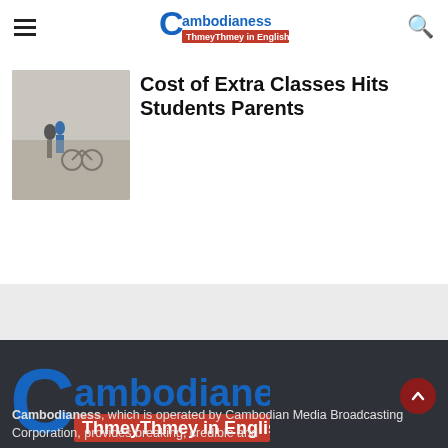Cambodianess – ThmeyThmey in English
Cost of Extra Classes Hits Students Parents
[Figure (photo): Photo of students on a sandy outdoor area, one child with a bicycle visible]
[Figure (logo): Cambodianess logo – large C letter with 'ambodianess' text and red banner 'ThmeyThmey in English']
Cambodianess, which is operated by Cambodian Media Broadcasting Corporation, provides breaking, credible and